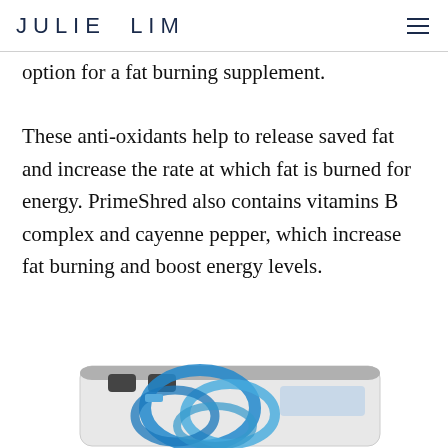JULIE LIM
option for a fat burning supplement.
These anti-oxidants help to release saved fat and increase the rate at which fat is burned for energy. PrimeShred also contains vitamins B complex and cayenne pepper, which increase fat burning and boost energy levels.
[Figure (photo): A bathroom scale with blue measuring tape coiled around it, partially visible at the bottom of the page.]